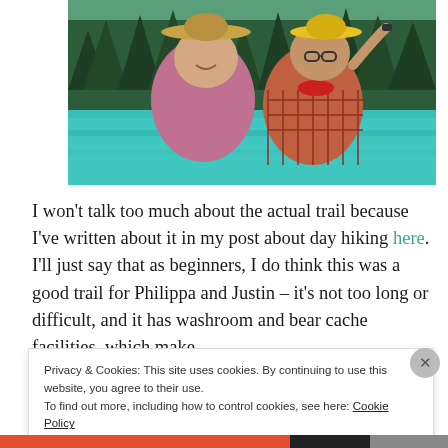[Figure (photo): Two people smiling in front of a turquoise mountain lake with evergreen forest in the background. The person on the left wears a wide-brim hat and pink/maroon shirt. The person on the right wears a yellow hat, glasses, and a plaid shirt with a red bandana.]
I won't talk too much about the actual trail because I've written about it in my post about day hiking here. I'll just say that as beginners, I do think this was a good trail for Philippa and Justin – it's not too long or difficult, and it has washroom and bear cache facilities, which make
Privacy & Cookies: This site uses cookies. By continuing to use this website, you agree to their use.
To find out more, including how to control cookies, see here: Cookie Policy
Close and accept